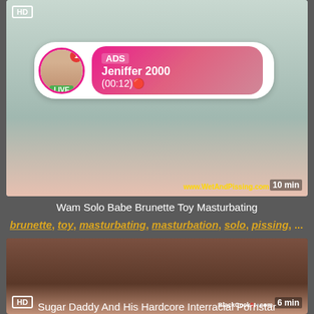[Figure (screenshot): Video thumbnail showing female figure with LIVE overlay ad for Jeniffer 2000, HD badge, 10 min duration, WetAndPissing.com watermark]
Wam Solo Babe Brunette Toy Masturbating
brunette, toy, masturbating, masturbation, solo, pissing, ...
[Figure (screenshot): Video thumbnail showing explicit content with HD badge, 6 min duration, BlackCock8.com watermark]
Sugar Daddy And His Hardcore Interracial Pornstar